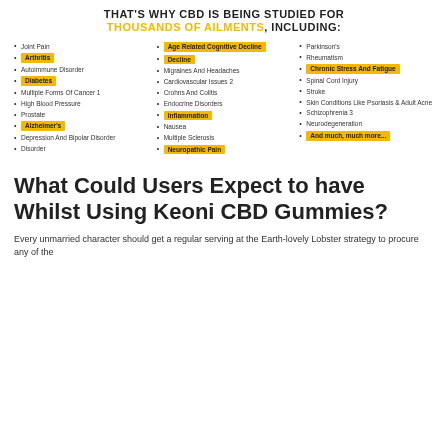THAT'S WHY CBD IS BEING STUDIED FOR THOUSANDS OF AILMENTS, INCLUDING:
Joint Pain
Age Related Cognitive Decline
Parkinson's
Arthritis
Decline
Rheumatism
Autoimmune Disorder
Migraines And Headaches
Chronic Stress And Fatigue
Diabetes
Cardiovascular Issues 2
Spinal Cord Injury
Multiple Forms Of Cancer 1
Crohns And Colitis
Stroke
High Blood Pressure
Endocrine Disorders
Skin Conditions Like Psoriasis & Adult Acne
Prostate
Inflammation
Schizophrenia 3
Alzheimer's
Nausea
Neurodegeneration
Depression And Bipolar Disorder
Multiple Sclerosis
And much, much more...
Disorder
Neuropathic Pain
What Could Users Expect to have Whilst Using Keoni CBD Gummies?
Every unmarried character should get a regular serving at the Earth-lovely Lobster strategy to procure any of the